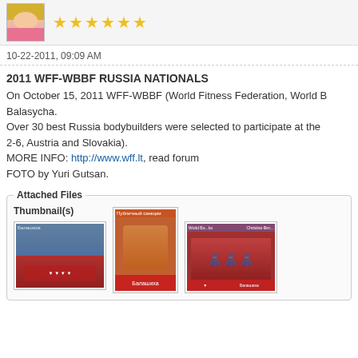[Figure (photo): User avatar photo of a blonde woman in pink top, with 6 gold stars rating]
10-22-2011, 09:09 AM
2011 WFF-WBBF RUSSIA NATIONALS
On October 15, 2011 WFF-WBBF (World Fitness Federation, World B... Balasycha.
Over 30 best Russia bodybuilders were selected to participate at the... 2-6, Austria and Slovakia).
MORE INFO: http://www.wff.lt, read forum
FOTO by Yuri Gutsan.
Attached Files
Thumbnail(s)
[Figure (photo): Thumbnail 1: Group of bodybuilders on stage with red banners]
[Figure (photo): Thumbnail 2: Female fitness competitor posing in front of Балашиха banner]
[Figure (photo): Thumbnail 3: Three female competitors on stage with World Bodybuilding banner]